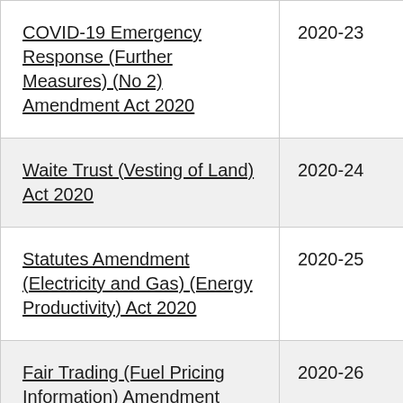| COVID-19 Emergency Response (Further Measures) (No 2) Amendment Act 2020 | 2020-23 |
| Waite Trust (Vesting of Land) Act 2020 | 2020-24 |
| Statutes Amendment (Electricity and Gas) (Energy Productivity) Act 2020 | 2020-25 |
| Fair Trading (Fuel Pricing Information) Amendment | 2020-26 |